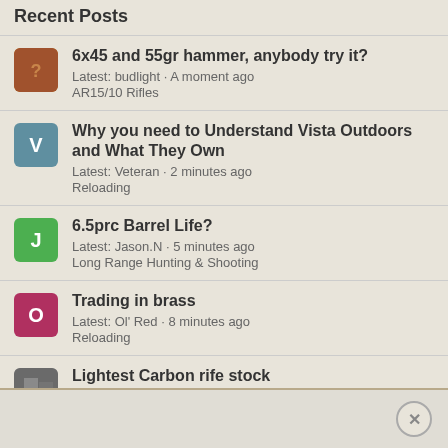Recent Posts
6x45 and 55gr hammer, anybody try it?
Latest: budlight · A moment ago
AR15/10 Rifles
Why you need to Understand Vista Outdoors and What They Own
Latest: Veteran · 2 minutes ago
Reloading
6.5prc Barrel Life?
Latest: Jason.N · 5 minutes ago
Long Range Hunting & Shooting
Trading in brass
Latest: Ol' Red · 8 minutes ago
Reloading
Lightest Carbon rife stock
Latest: adk hunter · 15 minutes ago
Long Range Hunting & Shooting